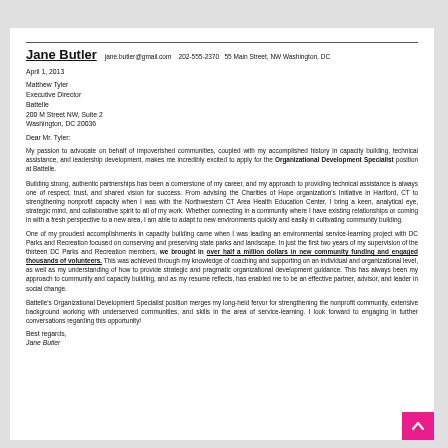Jane Butler   jane.butler@gmail.com   202-555-2370   55 Main Street, NW Washington, DC
April 1, 2013
Matthew Tyler
Executive Director
Battelle
200 M Street NW, Suite 2
Washington, DC 20036
Dear Mr. Tyler:
My passion to advocate on behalf of impoverished communities, coupled with my accomplished history in capacity building, technical assistance, and leadership development, makes me incredibly excited to apply for the Organizational Development Specialist position at Battelle.
Building strong, authentic partnerships has been a cornerstone of my career, and my approach to providing technical assistance is always one of respect, trust, and shared vision for success. From advising the Charities of Hope organization's Initiative in Hartford, CT to strengthening nonprofit capacity when I was with the Northwestern CT Area Health Education Center, I bring a keen, analytical eye, strategic mind, and collaborative spirit to all of my work. Whether connecting in a community where I have existing relationships or coming in with a fresh perspective to a new area, I am able to adapt to new environments quickly and easily in cultivating community building.
One of my proudest accomplishments in capacity building came when I was leading an environmental service-learning project with DC Parks and Recreation focused on conserving and preserving state parks and landscape. In just the first two years of my supervision of the thirteen DC Parks and Recreation members, we brought in over half a million dollars in new community funding and engaged thousands of volunteers. This was achieved through my knowledge of coaching and supporting on an individual and organizational level, as well as my understanding of how to provide strategic and pragmatic organizational development guidance. This has always been my approach to community and capacity building, and as my resume reflects, has enabled me to be an effective partner, advisor, and leader in social change.
Battelle's Organizational Development Specialist position merges my long-held fervor for strengthening the nonprofit community, extensive background working with underserved communities, and skills in the area of service-learning. I look forward to engaging in further conversations regarding this opportunity!
Best regards,
Jane Butler